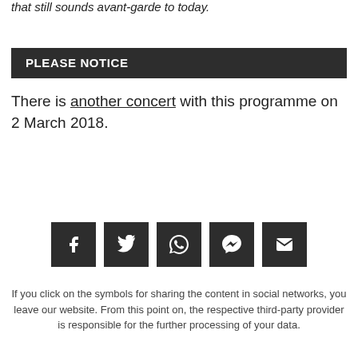that still sounds avant-garde to today.
PLEASE NOTICE
There is another concert with this programme on 2 March 2018.
[Figure (infographic): Five dark square social media sharing buttons: Facebook, Twitter, WhatsApp, Messenger, Email]
If you click on the symbols for sharing the content in social networks, you leave our website. From this point on, the respective third-party provider is responsible for the further processing of your data.